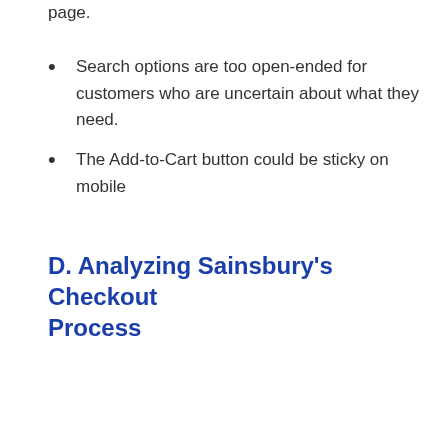page.
Search options are too open-ended for customers who are uncertain about what they need.
The Add-to-Cart button could be sticky on mobile
D. Analyzing Sainsbury's Checkout Process